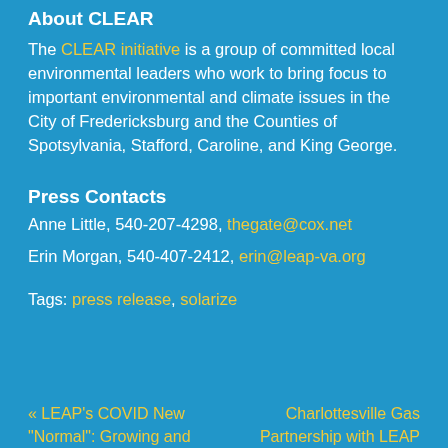About CLEAR
The CLEAR initiative is a group of committed local environmental leaders who work to bring focus to important environmental and climate issues in the City of Fredericksburg and the Counties of Spotsylvania, Stafford, Caroline, and King George.
Press Contacts
Anne Little, 540-207-4298, thegate@cox.net
Erin Morgan, 540-407-2412, erin@leap-va.org
Tags: press release, solarize
« LEAP's COVID New "Normal": Growing and
Charlottesville Gas Partnership with LEAP